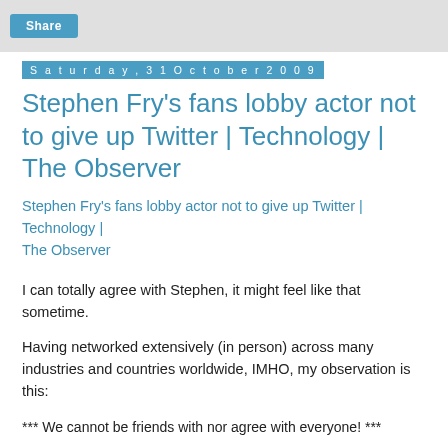[Figure (other): Share button in a grey toolbar area]
Saturday, 31 October 2009
Stephen Fry's fans lobby actor not to give up Twitter | Technology | The Observer
Stephen Fry's fans lobby actor not to give up Twitter | Technology | The Observer
I can totally agree with Stephen, it might feel like that sometime.
Having networked extensively (in person) across many industries and countries worldwide, IMHO, my observation is this:
*** We cannot be friends with nor agree with everyone! ***